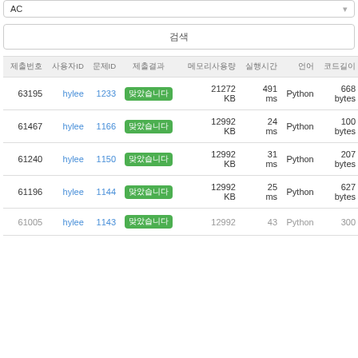AC
검색
| 제출번호 | 사용자ID | 문제ID | 제출결과 | 메모리사용량 | 실행시간 | 언어 | 코드길이 |
| --- | --- | --- | --- | --- | --- | --- | --- |
| 63195 | hylee | 1233 | 맞았습니다 | 21272 KB | 491 ms | Python | 668 bytes |
| 61467 | hylee | 1166 | 맞았습니다 | 12992 KB | 24 ms | Python | 100 bytes |
| 61240 | hylee | 1150 | 맞았습니다 | 12992 KB | 31 ms | Python | 207 bytes |
| 61196 | hylee | 1144 | 맞았습니다 | 12992 KB | 25 ms | Python | 627 bytes |
| 61005 | hylee | 1143 | 맞았습니다 | 12992 KB | 43 ms | Python | 300 bytes |